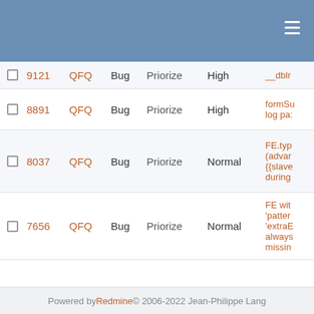|  | # | Project | Tracker | Target version | Priority | Subject |
| --- | --- | --- | --- | --- | --- | --- |
|  | 9121 | QFQ | Bug | Priorize | High | __dbIr... |
|  | 8891 | QFQ | Bug | Priorize | High | formSi... log pa... |
|  | 8037 | QFQ | Bug | Priorize | Normal | FE.typ (advar {{slave during |
|  | 7656 | QFQ | Bug | Priorize | Normal | FE wit 'patter 'extraE always missin |
« Previous  13  Next »
(301-325/573) Per page: 25, 50, 100
Also available in: Atom | CSV | PDF
Powered by Redmine © 2006-2022 Jean-Philippe Lang